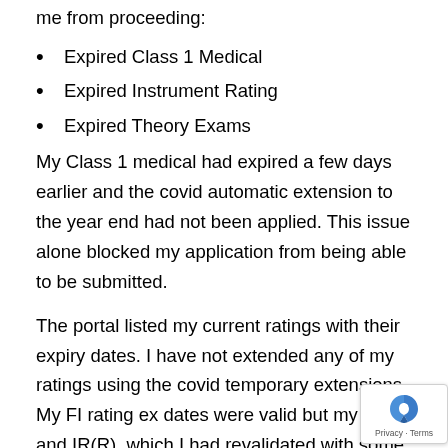me from proceeding:
Expired Class 1 Medical
Expired Instrument Rating
Expired Theory Exams
My Class 1 medical had expired a few days earlier and the covid automatic extension to the year end had not been applied. This issue alone blocked my application from being able to be submitted.
The portal listed my current ratings with their expiry dates. I have not extended any of my ratings using the covid temporary extensions. My FI rating ex... dates were valid but my IR and IR(R), which I had... revalidated with some difficulty in March, as well as